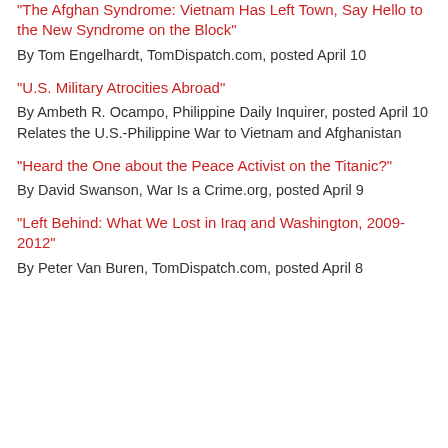“The Afghan Syndrome: Vietnam Has Left Town, Say Hello to the New Syndrome on the Block”
By Tom Engelhardt, TomDispatch.com, posted April 10
“U.S. Military Atrocities Abroad”
By Ambeth R. Ocampo, Philippine Daily Inquirer, posted April 10
Relates the U.S.-Philippine War to Vietnam and Afghanistan
“Heard the One about the Peace Activist on the Titanic?”
By David Swanson, War Is a Crime.org, posted April 9
“Left Behind: What We Lost in Iraq and Washington, 2009-2012”
By Peter Van Buren, TomDispatch.com, posted April 8